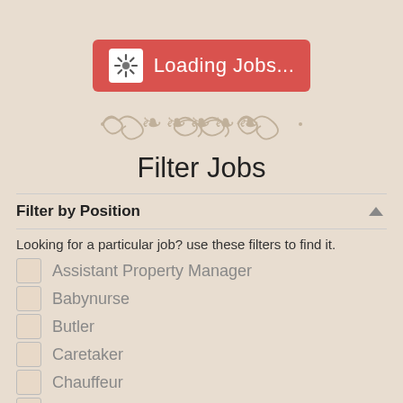[Figure (screenshot): Loading Jobs... button with white spinner icon on red background]
[Figure (illustration): Decorative ornamental divider in beige/tan color]
Filter Jobs
Filter by Position
Looking for a particular job? use these filters to find it.
Assistant Property Manager
Babynurse
Butler
Caretaker
Chauffeur
Chef
Companion